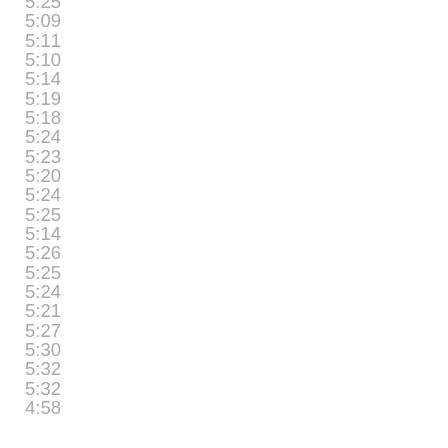5:25
5:09
5:11
5:10
5:14
5:19
5:18
5:24
5:23
5:20
5:24
5:25
5:14
5:26
5:25
5:24
5:21
5:27
5:30
5:32
5:32
4:58